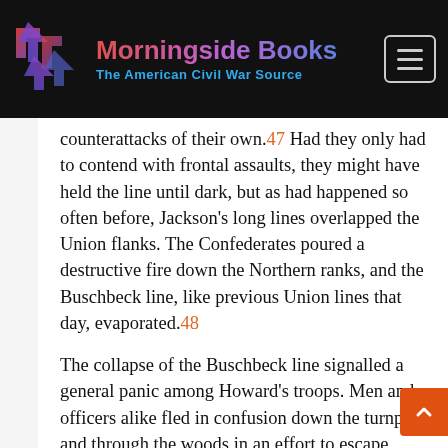Morningside Books — The American Civil War Source
counterattacks of their own.47 Had they only had to contend with frontal assaults, they might have held the line until dark, but as had happened so often before, Jackson's long lines overlapped the Union flanks. The Confederates poured a destructive fire down the Northern ranks, and the Buschbeck line, like previous Union lines that day, evaporated.48
The collapse of the Buschbeck line signalled a general panic among Howard's troops. Men and officers alike fled in confusion down the turnpike and through the woods in an effort to escape capture. Only Buschbeck and Dilger